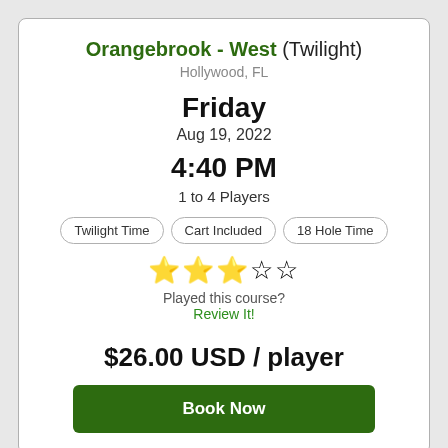Orangebrook - West (Twilight)
Hollywood, FL
Friday
Aug 19, 2022
4:40 PM
1 to 4 Players
Twilight Time
Cart Included
18 Hole Time
★★★☆☆ Played this course? Review It!
$26.00 USD / player
Book Now
Orangebrook - West (Walking)